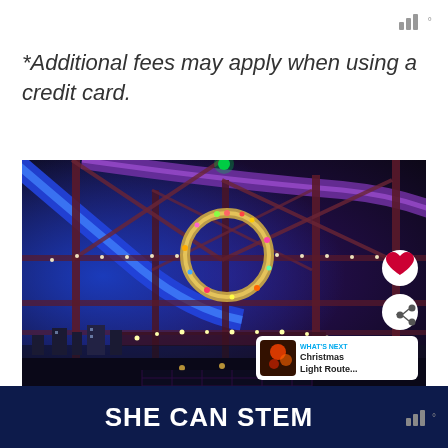*Additional fees may apply when using a credit card.
[Figure (photo): Night photo of a decorated steel bridge with blue and purple LED lights and a large illuminated wreath in the center. City skyline visible in background. UI overlays include a heart button, share button, and a 'What's Next' card showing 'Christmas Light Route...']
SHE CAN STEM